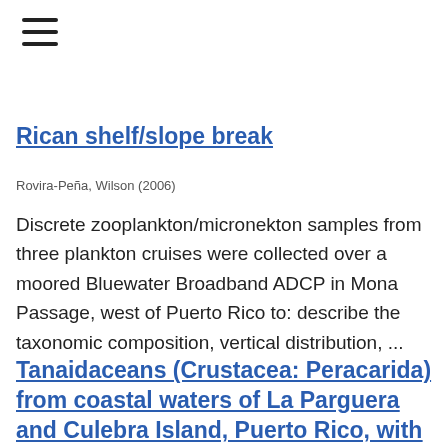☰
Rican shelf/slope break
Rovira-Peña, Wilson (2006)
Discrete zooplankton/micronekton samples from three plankton cruises were collected over a moored Bluewater Broadband ADCP in Mona Passage, west of Puerto Rico to: describe the taxonomic composition, vertical distribution, ...
Tanaidaceans (Crustacea: Peracarida) from coastal waters of La Parguera and Culebra Island, Puerto Rico, with taxonomic...